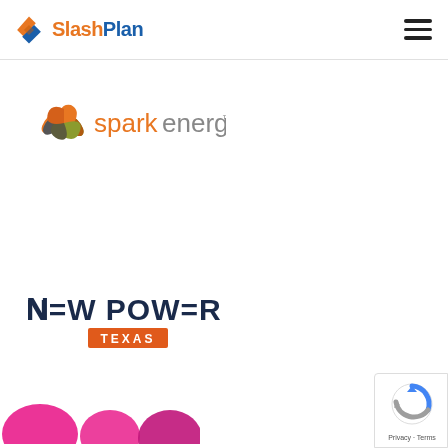[Figure (logo): SlashPlan logo in header with orange and blue icon and text]
[Figure (logo): Spark Energy logo - colorful pinwheel icon with 'spark' in orange and 'energy' in gray text]
[Figure (logo): New Power Texas logo - dark navy bold text 'NEW POWER' with orange rectangle badge 'TEXAS']
[Figure (logo): reCAPTCHA privacy badge bottom right with blue/gray circular arrow icon and 'Privacy - Terms' text]
[Figure (illustration): Partial pink/magenta abstract shapes at bottom left corner, partially cut off]